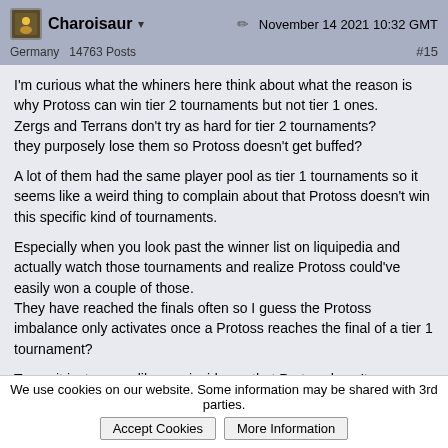Charoisaur ▾   November 14 2021 10:32 GMT
Germany  14763 Posts   #15
I'm curious what the whiners here think about what the reason is why Protoss can win tier 2 tournaments but not tier 1 ones.
Zergs and Terrans don't try as hard for tier 2 tournaments?
they purposely lose them so Protoss doesn't get buffed?

A lot of them had the same player pool as tier 1 tournaments so it seems like a weird thing to complain about that Protoss doesn't win this specific kind of tournaments.

Especially when you look past the winner list on liquipedia and actually watch those tournaments and realize Protoss could've easily won a couple of those.
They have reached the finals often so I guess the Protoss imbalance only activates once a Protoss reaches the final of a tier 1 tournament?

To me it just seems like a coincidence that Protoss hasn't won one in so long, no statistic except the winrate of Protoss in tier 1 tournament finals supports the claim that Protoss is weak.
We use cookies on our website. Some information may be shared with 3rd parties.  Accept Cookies  More Information